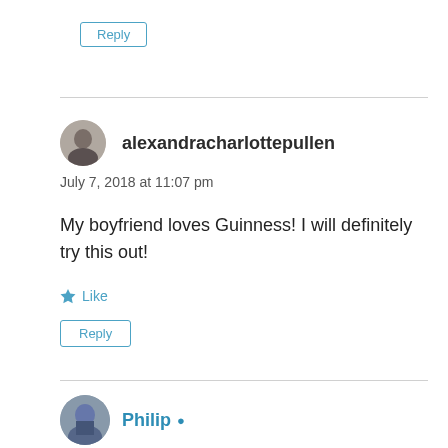Reply
[Figure (illustration): Circular avatar photo of alexandracharlottepullen]
alexandracharlottepullen
July 7, 2018 at 11:07 pm
My boyfriend loves Guinness! I will definitely try this out!
Like
Reply
[Figure (illustration): Circular avatar photo of Philip]
Philip